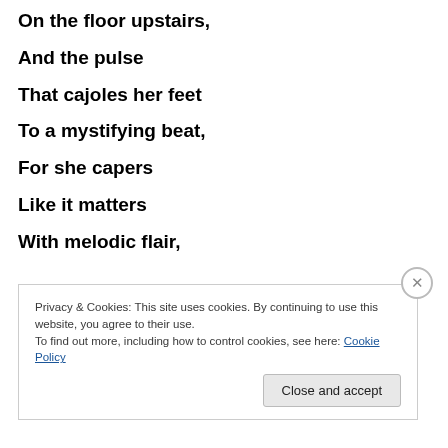On the floor upstairs,
And the pulse
That cajoles her feet
To a mystifying beat,
For she capers
Like it matters
With melodic flair,
Privacy & Cookies: This site uses cookies. By continuing to use this website, you agree to their use.
To find out more, including how to control cookies, see here: Cookie Policy
Close and accept